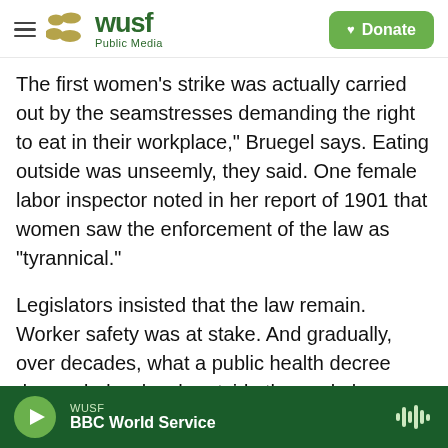WUSF Public Media | Donate
The first women's strike was actually carried out by the seamstresses demanding the right to eat in their workplace," Bruegel says. Eating outside was unseemly, they said. One female labor inspector noted in her report of 1901 that women saw the enforcement of the law as "tyrannical."
Legislators insisted that the law remain. Worker safety was at stake. And gradually, over decades, what a public health decree demanded — lunch outside the workplace — became a treasured part of French culture. These days, it's a standard sight to see workplaces shut their doors and bistros and
WUSF | BBC World Service